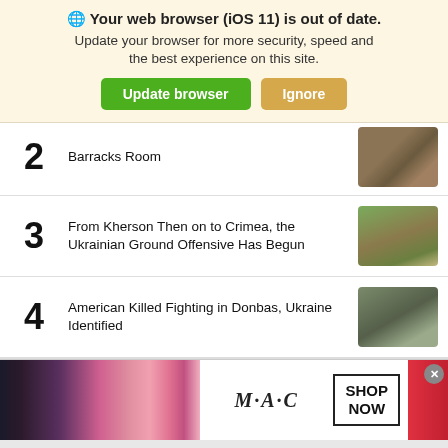[Figure (screenshot): Browser update notification banner with globe icon, bold text 'Your web browser (iOS 11) is out of date.' and subtext 'Update your browser for more security, speed and the best experience on this site.' with green 'Update browser' button and tan 'Ignore' button]
2 [partially visible headline] Barracks Room
3 From Kherson Then on to Crimea, the Ukrainian Ground Offensive Has Begun
4 American Killed Fighting in Donbas, Ukraine Identified
[Figure (photo): MAC Cosmetics advertisement banner showing lipsticks in purple, pink shades on the left, MAC logo in the center, SHOP NOW box on the right, and a red lipstick on the far right. Close (x) button in top-right corner.]